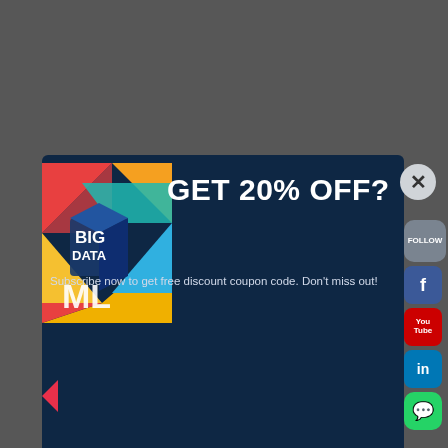[Figure (screenshot): A popup/modal overlay on an educational website showing a Big Data ML subscription offer. The modal has a dark navy background with colorful geometric logo, headline 'GET 20% OFF?', email input field, SUBSCRIBE button, checkbox with terms link, No thanks button, and spam disclaimer. Social media icons (Follow, Facebook, YouTube, LinkedIn, WhatsApp) appear on the right side. A close (X) button is in the top right of the modal.]